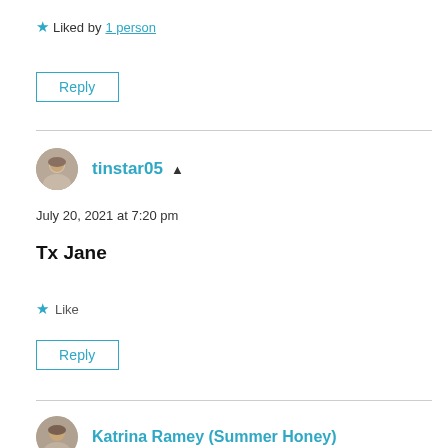★ Liked by 1 person
Reply
tinstar05 · July 20, 2021 at 7:20 pm
Tx Jane
★ Like
Reply
Katrina Ramey (Summer Honey)